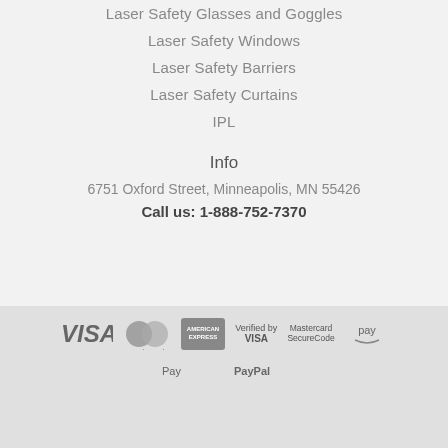Laser Safety Glasses and Goggles
Laser Safety Windows
Laser Safety Barriers
Laser Safety Curtains
IPL
Info
6751 Oxford Street, Minneapolis, MN 55426
Call us: 1-888-752-7370
[Figure (logo): Payment method logos: VISA, Mastercard, American Express, Verified by VISA, Mastercard SecureCode, Amazon Pay, Apple Pay, PayPal]